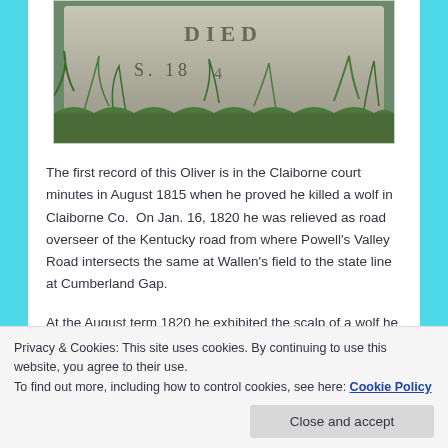[Figure (photo): Photograph of a gravestone with text partially visible, surrounded by grass and weeds. Stone appears to show 'DIED' and a date starting with 'S 18...']
The first record of this Oliver is in the Claiborne court minutes in August 1815 when he proved he killed a wolf in Claiborne Co.  On Jan. 16, 1820 he was relieved as road overseer of the Kentucky road from where Powell's Valley Road intersects the same at Wallen's field to the state line at Cumberland Gap.
At the August term 1820 he exhibited the scalp of a wolf he had killed in Claiborne in 1819.
Marcellus M. Dodson claimed to be born in 1819.  By
Privacy & Cookies: This site uses cookies. By continuing to use this website, you agree to their use.
To find out more, including how to control cookies, see here: Cookie Policy